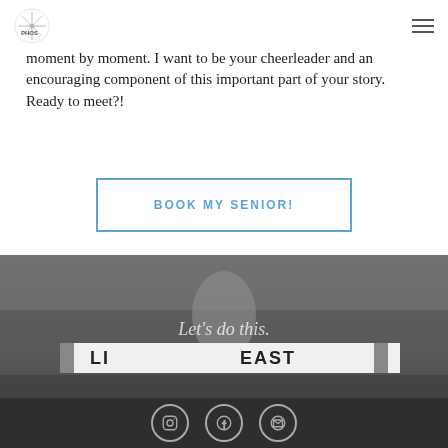PHOS (logo) | hamburger menu
one of my love of mine – all the kids. I have been a high school senior and know all the pressure and anxiety of that transition, moment by moment. I want to be your cheerleader and an encouraging component of this important part of your story. Ready to meet?!
BOOK MY SENIOR!
[Figure (photo): Black and white photo of a teenage girl athlete on a track, with text overlay 'Let's do this.' and a banner reading 'LI...EAST']
Instagram | Facebook | Email icons